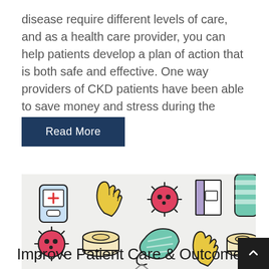disease require different levels of care, and as a health care provider, you can help patients develop a plan of action that is both safe and effective. One way providers of CKD patients have been able to save money and stress during the pandemic is by…
Read More
[Figure (illustration): Collection of pandemic-related cartoon icons on a light gray background: medical phone app with red cross, yellow rubber glove, red coronavirus/virus icon with spikes, open book/tissue box, teal striped tube/toothpaste, red virus icon, toilet paper roll, teal face mask with curl, yellow rubber glove, toilet paper roll. Items arranged in two rows.]
Improve Patient Care & Outcomes